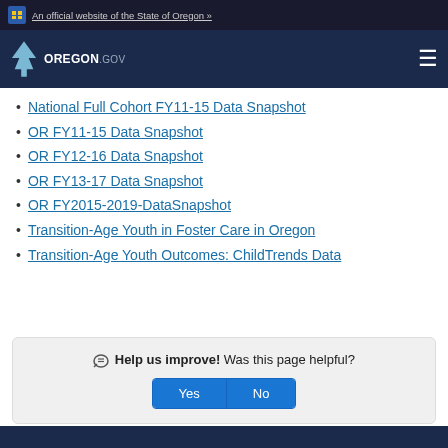An official website of the State of Oregon »
Oregon.gov
National Full Cohort FY11-15 Data Snapshot
OR FY11-15 Data Snapshot
OR FY12-16 Data Snapshot
OR FY13-17 Data Snapshot
OR FY2015-2019-DataSnapshot
Transition-Age Youth in Foster Care in Oregon
Transition-Age Youth Outcomes: ChildTrends Data
Help us improve! Was this page helpful? Yes No